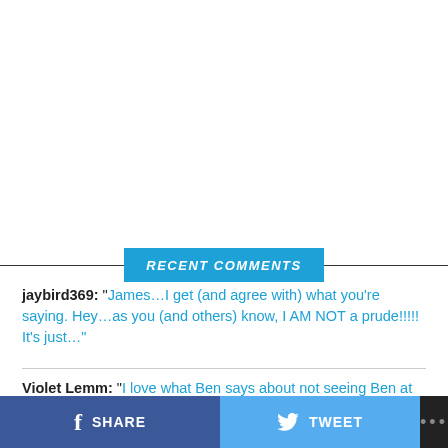RECENT COMMENTS
jaybird369: “James…I get (and agree with) what you’re saying. Hey…as you (and others) know, I AM NOT a prude!!!!! It’s just…”
Violet Lemm: “I love what Ben says about not seeing Ben at all. Well, lately I’ve been seeing too damn much of…”
SHARE   TWEET   ...